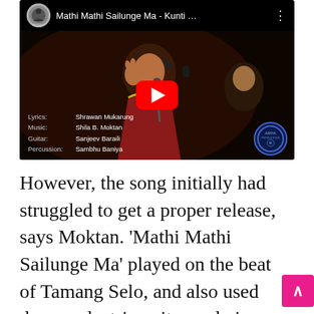[Figure (screenshot): YouTube video thumbnail showing a woman singer wearing headphones and a red sari performing, with a YouTube play button overlay. Top bar shows channel logo and title 'Mathi Mathi Sailunge Ma - Kunti …'. Bottom left credits: Lyrics: Shrawan Mukarung, Music: Shila B. Moktan, Guitar: Sanjeev Baraili, Percussion: Sambhu Baniya.]
However, the song initially had struggled to get a proper release, says Moktan. 'Mathi Mathi Sailunge Ma' played on the beat of Tamang Selo, and also used drums, electric guitar and piano. It was a mixture of pop and traditional Nepali folk beat, which made i